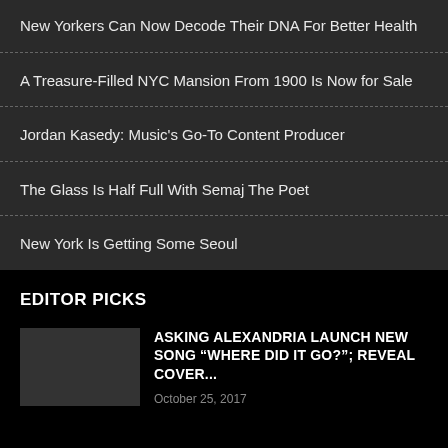New Yorkers Can Now Decode Their DNA For Better Health
A Treasure-Filled NYC Mansion From 1900 Is Now for Sale
Jordan Kasedy: Music’s Go-To Content Producer
The Glass Is Half Full With Semaj The Poet
New York Is Getting Some Seoul
EDITOR PICKS
ASKING ALEXANDRIA LAUNCH NEW SONG “WHERE DID IT GO?”; REVEAL COVER...
October 25, 2017